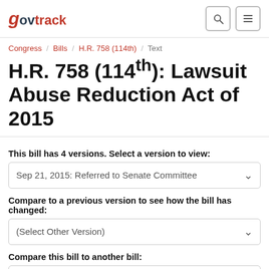govtrack
Congress / Bills / H.R. 758 (114th) / Text
H.R. 758 (114th): Lawsuit Abuse Reduction Act of 2015
This bill has 4 versions. Select a version to view:
Sep 21, 2015: Referred to Senate Committee
Compare to a previous version to see how the bill has changed:
(Select Other Version)
Compare this bill to another bill:
(Select)
React with an emoji